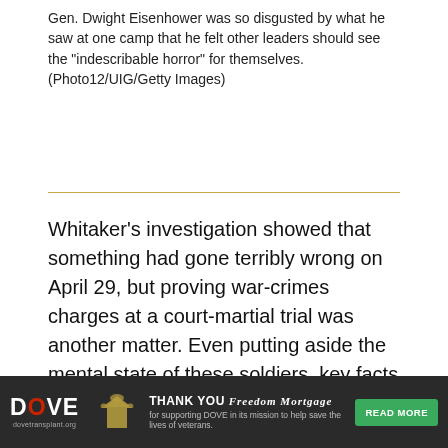Gen. Dwight Eisenhower was so disgusted by what he saw at one camp that he felt other leaders should see the “indescribable horror” for themselves. (Photo12/UIG/Getty Images)
Whitaker’s investigation showed that something had gone terribly wrong on April 29, but proving war-crimes charges at a court-martial trial was another matter. Even putting aside the mental state of these soldiers, key facts remained in dispute. The witnesses sharply disagreed on what had prompted the shootings in the coal yard and by the guard tower. Claims that the Germans along the wall had started to rush the Americans and that one at the tower had appeared to reach for a hidden pistol suggested the G.I.s may have acted in
[Figure (other): Advertisement banner: DOVE logo with red O, eagle graphic, THANK YOU FREEDOM MORTGAGE text, READ MORE green button, dove transplant mission tagline]